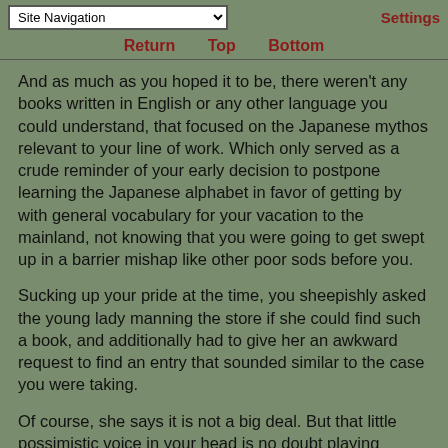Site Navigation | Settings
Return  Top  Bottom
And as much as you hoped it to be, there weren't any books written in English or any other language you could understand, that focused on the Japanese mythos relevant to your line of work. Which only served as a crude reminder of your early decision to postpone learning the Japanese alphabet in favor of getting by with general vocabulary for your vacation to the mainland, not knowing that you were going to get swept up in a barrier mishap like other poor sods before you.
Sucking up your pride at the time, you sheepishly asked the young lady manning the store if she could find such a book, and additionally had to give her an awkward request to find an entry that sounded similar to the case you were taking.
Of course, she says it is not a big deal. But that little possimistic voice in your head is no doubt playing